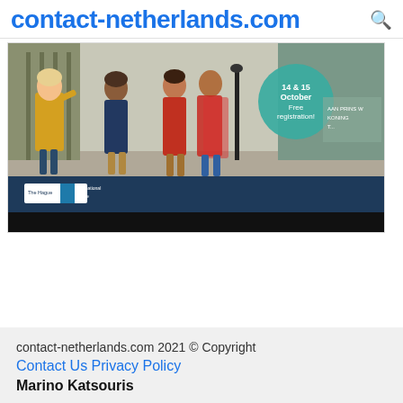contact-netherlands.com
[Figure (photo): Event banner photo showing people on a street in The Hague. A woman in a yellow coat gestures, a woman in a dark floral dress, and two people in red coats stand on a city street. A teal circle badge reads '14 & 15 October Free registration!' The Hague International Centre logo is shown on a dark blue banner at the bottom of the image.]
contact-netherlands.com 2021 © Copyright
Contact Us Privacy Policy
Marino Katsouris